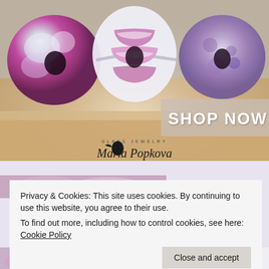[Figure (photo): Close-up photo of decorative glass charm beads on a bracelet, featuring pink/purple/silver colors. A semi-transparent box overlay on the bottom-right reads SHOP NOW. The Maria Popkova Glass Jewelry logo is at the bottom of the image.]
Privacy & Cookies: This site uses cookies. By continuing to use this website, you agree to their use.
To find out more, including how to control cookies, see here: Cookie Policy
Close and accept
INTRODUCING